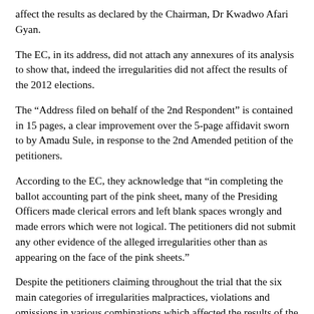affect the results as declared by the Chairman, Dr Kwadwo Afari Gyan.
The EC, in its address, did not attach any annexures of its analysis to show that, indeed the irregularities did not affect the results of the 2012 elections.
The “Address filed on behalf of the 2nd Respondent” is contained in 15 pages, a clear improvement over the 5-page affidavit sworn to by Amadu Sule, in response to the 2nd Amended petition of the petitioners.
According to the EC, they acknowledge that “in completing the ballot accounting part of the pink sheet, many of the Presiding Officers made clerical errors and left blank spaces wrongly and made errors which were not logical. The petitioners did not submit any other evidence of the alleged irregularities other than as appearing on the face of the pink sheets.”
Despite the petitioners claiming throughout the trial that the six main categories of irregularities malpractices, violations and omissions in various combinations which affected the results of the election in the 11,842 polling stations are laid out in 24 grounds, the Electoral Commission disagreed with this assertion, stating that the “petitioners put forward three grounds as the basis of their petition.”